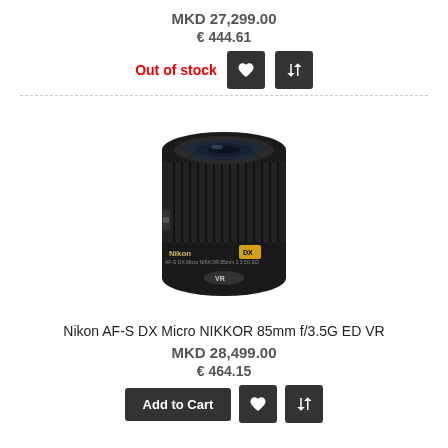MKD 27,299.00
€ 444.61
Out of stock
[Figure (photo): Nikon AF-S DX Micro NIKKOR 85mm f/3.5G ED VR camera lens, black, shot from front/top angle]
Nikon AF-S DX Micro NIKKOR 85mm f/3.5G ED VR
MKD 28,499.00
€ 464.15